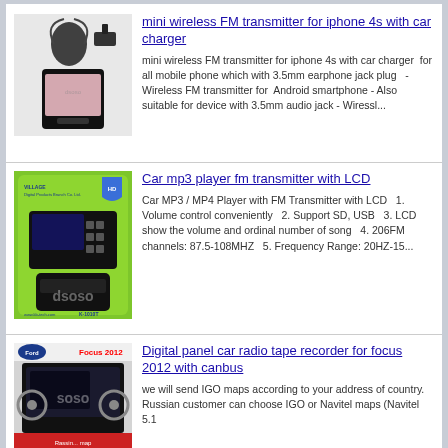[Figure (photo): Photo of mini wireless FM transmitter for iPhone 4s with car charger - shows a smartphone and headphone accessory]
mini wireless FM transmitter for iphone 4s with car charger
mini wireless FM transmitter for iphone 4s with car charger  for all mobile phone which with 3.5mm earphone jack plug   - Wireless FM transmitter for  Android smartphone - Also suitable for device with 3.5mm audio jack - Wiressl...
[Figure (photo): Photo of Car mp3 player fm transmitter with LCD - shows a green packaged product with remote control, branded K-1010T]
Car mp3 player fm transmitter with LCD
Car MP3 / MP4 Player with FM Transmitter with LCD   1. Volume control conveniently   2. Support SD, USB   3. LCD show the volume and ordinal number of song   4. 206FM channels: 87.5-108MHZ   5. Frequency Range: 20HZ-15...
[Figure (photo): Photo of Digital panel car radio tape recorder for focus 2012 with canbus - Ford Focus 2012 car stereo head unit]
Digital panel car radio tape recorder for focus 2012 with canbus
we will send IGO maps according to your address of country. Russian customer can choose IGO or Navitel maps (Navitel 5.1